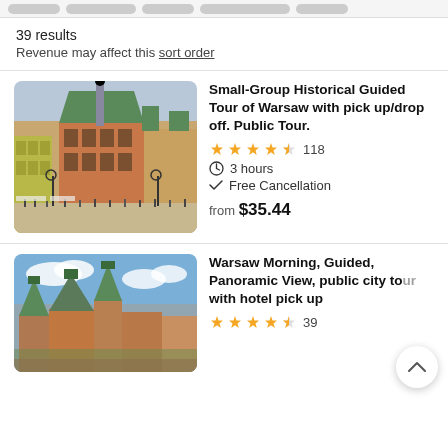filter pills bar
39 results
Revenue may affect this sort order
[Figure (photo): Old Town Warsaw square with historic colorful buildings and cathedral with green roofs, crowds of tourists below]
Small-Group Historical Guided Tour of Warsaw with pick up/drop off. Public Tour.
4.5 stars, 118 reviews
3 hours
Free Cancellation
from $35.44
[Figure (photo): Warsaw Old Town panoramic view with churches and historic buildings under blue sky]
Warsaw Morning, Guided, Panoramic View, public city tour with hotel pick up
4.5 stars, 39 reviews